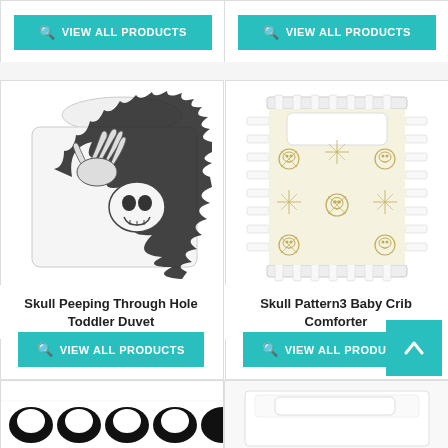[Figure (other): Top left VIEW ALL PRODUCTS button card]
[Figure (other): Top right VIEW ALL PRODUCTS button card]
[Figure (photo): Skull Peeping Through Hole Toddler Duvet product image - white duvet with black skull and skeletal hands breaking through]
Skull Peeping Through Hole Toddler Duvet
[Figure (other): VIEW ALL PRODUCTS button for Skull Peeping Through Hole Toddler Duvet]
[Figure (photo): Skull Pattern3 Baby Crib Comforter product image - white crib sheet with gold skull pattern]
Skull Pattern3 Baby Crib Comforter
[Figure (other): VIEW ALL PRODUCTS button for Skull Pattern3 Baby Crib Comforter]
[Figure (photo): Bottom left product - black and white skull pattern bedding, partially visible]
[Figure (photo): Bottom right product - white bedding/comforter, partially visible]